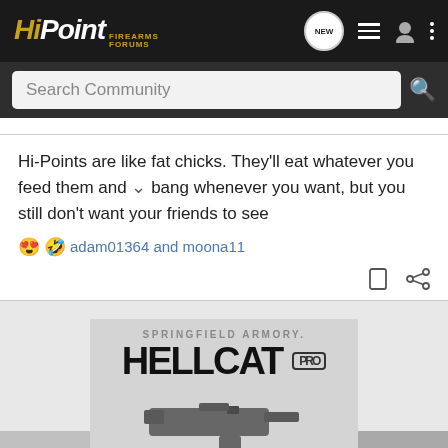HiPoint FIREARMS FORUMS
Search Community
Hi-Points are like fat chicks. They'll eat whatever you feed them and bang whenever you want, but you still don't want your friends to see
😍🤣 adam01364 and moona11
[Figure (photo): Springfield Armory Hellcat PRO advertisement banner showing the pistol and text 'THE PERFECT BALANCE'. Also contains a secondary smaller ad with 'NEW 15+1 COMPACT' text.]